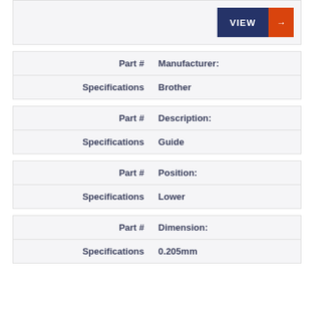[Figure (other): VIEW button with navy blue and orange accent arrow]
| Part # | Manufacturer: |
| --- | --- |
| Specifications | Brother |
| Part # | Description: |
| --- | --- |
| Specifications | Guide |
| Part # | Position: |
| --- | --- |
| Specifications | Lower |
| Part # | Dimension: |
| --- | --- |
| Specifications | 0.205mm |